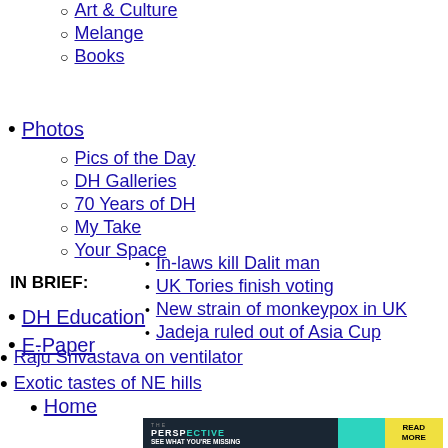Art & Culture
Melange
Books
Photos
Pics of the Day
DH Galleries
70 Years of DH
My Take
Your Space
DH Education
E-Paper
IN BRIEF: In-laws kill Dalit man
UK Tories finish voting
New strain of monkeypox in UK
Jadeja ruled out of Asia Cup
Raju Srivastava on ventilator
Exotic tastes of NE hills
Home
[Figure (screenshot): Advertisement banner: The Perspective - SEE WHAT YOU'RE MISSING - READ MORE]